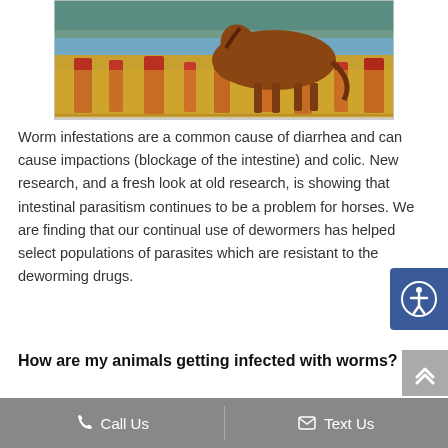[Figure (photo): A brown horse grazing in a field of red and yellow grasses near a body of water. The image is cropped showing mostly the lower body of the horse and the colorful field.]
Worm infestations are a common cause of diarrhea and can cause impactions (blockage of the intestine) and colic. New research, and a fresh look at old research, is showing that intestinal parasitism continues to be a problem for horses. We are finding that our continual use of dewormers has helped select populations of parasites which are resistant to the deworming drugs.
How are my animals getting infected with worms?
Call Us   Text Us